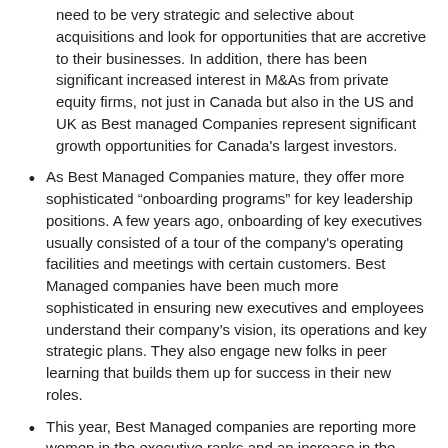need to be very strategic and selective about acquisitions and look for opportunities that are accretive to their businesses. In addition, there has been significant increased interest in M&As from private equity firms, not just in Canada but also in the US and UK as Best managed Companies represent significant growth opportunities for Canada's largest investors.
As Best Managed Companies mature, they offer more sophisticated “onboarding programs” for key leadership positions. A few years ago, onboarding of key executives usually consisted of a tour of the company's operating facilities and meetings with certain customers. Best Managed companies have been much more sophisticated in ensuring new executives and employees understand their company’s vision, its operations and key strategic plans. They also engage new folks in peer learning that builds them up for success in their new roles.
This year, Best Managed companies are reporting more women in the executive ranks and an increase in the number of newcomers to Canada.
Many of Canada’s Best Managed Companies are looking to new products and services as a means to increase revenue and income. Innovation has been taken to new levels to create disruptive technologies and clearly differentiated products.
Succession planning has now become a more all-encompassing